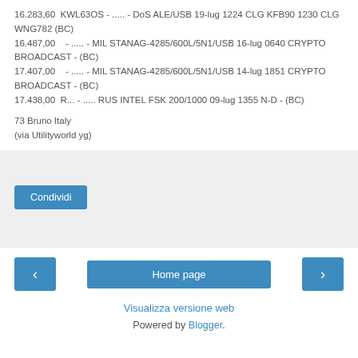16.283,60  KWL63OS - ..... - DoS ALE/USB 19-lug 1224 CLG KFB90 1230 CLG WNG782 (BC)
16.487,00    - ..... - MIL STANAG-4285/600L/5N1/USB 16-lug 0640 CRYPTO BROADCAST - (BC)
17.407,00    - ..... - MIL STANAG-4285/600L/5N1/USB 14-lug 1851 CRYPTO BROADCAST - (BC)
17.438,00  R... - ..... RUS INTEL FSK 200/1000 09-lug 1355 N-D - (BC)
73 Bruno Italy
(via Utilityworld yg)
[Figure (other): Share box with grey background and blue Condividi button]
[Figure (other): Navigation bar with left arrow button, Home page button, right arrow button]
Visualizza versione web
Powered by Blogger.